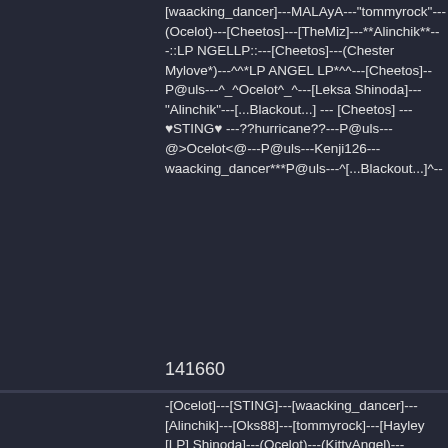[waacking_dancer]---MALAyA---"tommyrock"---(Ocelot)---[Cheetos]---[TheMiz]---**Alinchik**---::LP NGELLP::---[Cheetos]---(Chester Mylove*)---^^*LP ANGEL LP*^^---[Cheetos]---P@uls---^_^Ocelot^_^---[Leksa Shinoda]---"Alinchik"---[...Blackout...] --- [Cheetos] --- ♥STING♥ ---??hurricane??---P@uls---@>Ocelot<@---P@uls---Kenji126---waacking_dancer***P@uls---^[...Blackout...]^--
141660
-[Ocelot]---[STING]---[waacking_dancer]---[Alinchik]---[Oks88]---[tommyrock]---[Hayley [LP] Shinoda]---(Ocelot)---(KittyAngel)---<STING>---tommyrock?...[ChesterMylove*]